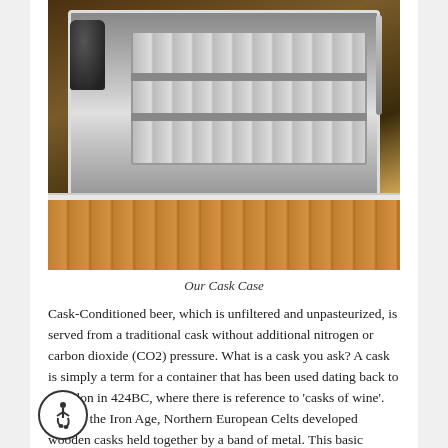[Figure (photo): A keg storage case (Cask Case) showing a metal keg on a wooden pallet floor, with a dark glass jug/growler on the left and tubing on the right, inside a white-framed refrigerated unit.]
Our Cask Case
Cask-Conditioned beer, which is unfiltered and unpasteurized, is served from a traditional cask without additional nitrogen or carbon dioxide (CO2) pressure. What is a cask you ask? A cask is simply a term for a container that has been used dating back to Babylon in 424BC, where there is reference to 'casks of wine'. During the Iron Age, Northern European Celts developed wooden casks held together by a band of metal. This basic design is still used today, although